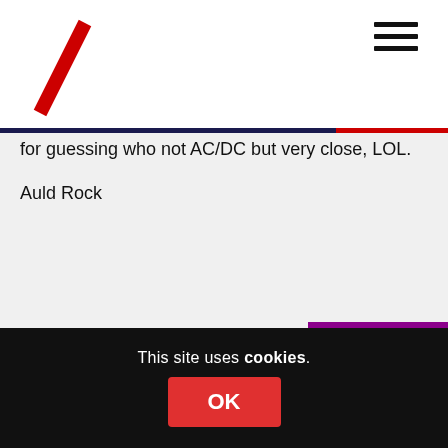Wings Over Scotland — navigation header with logo and hamburger menu
for guessing who not AC/DC but very close, LOL.

Auld Rock
Reply
bearinorkney
31st July 2014 at 4:30 pm
Lord Reid teaches the full songbook to his fellow Labour politicians. He sees nothing wrong taking his shilling from
This site uses cookies. OK